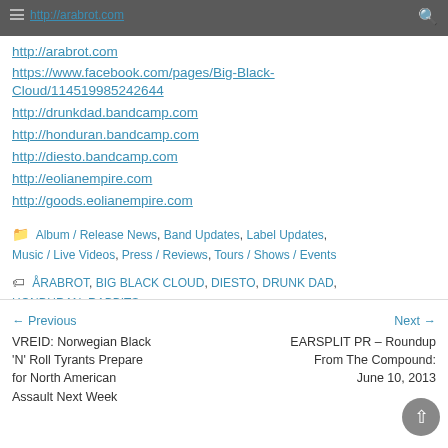http://rabbitsmaximus.com | http://arabrot.com | search icon
http://arabrot.com
https://www.facebook.com/pages/Big-Black-Cloud/114519985242644
http://drunkdad.bandcamp.com
http://honduran.bandcamp.com
http://diesto.bandcamp.com
http://eolianempire.com
http://goods.eolianempire.com
Album / Release News, Band Updates, Label Updates, Music / Live Videos, Press / Reviews, Tours / Shows / Events
ÅRABROT, BIG BLACK CLOUD, DIESTO, DRUNK DAD, HONDURAN, RABBITS
← Previous VREID: Norwegian Black 'N' Roll Tyrants Prepare for North American Assault Next Week
Next → EARSPLIT PR – Roundup From The Compound: June 10, 2013